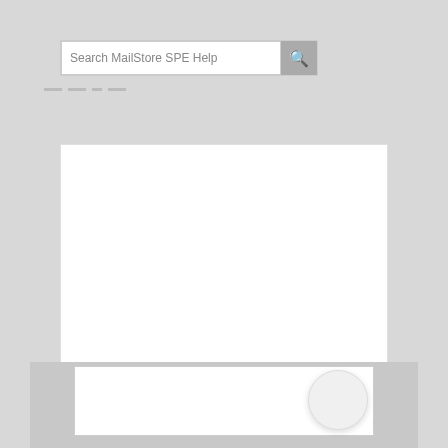Search MailStore SPE Help
[Figure (screenshot): MailStore SPE Help page with search bar, breadcrumb navigation area, a yellow highlighted content box, and a bottom navigation/footer area with a circular button]
— — — —